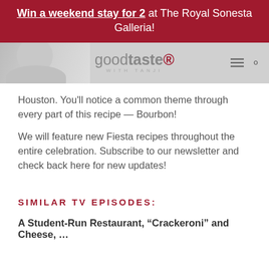Win a weekend stay for 2 at The Royal Sonesta Galleria!
[Figure (logo): Good Taste with Tanji website logo with navigation icons (hamburger menu and search)]
Houston. You’ll notice a common theme through every part of this recipe — Bourbon!
We will feature new Fiesta recipes throughout the entire celebration. Subscribe to our newsletter and check back here for new updates!
SIMILAR TV EPISODES:
A Student-Run Restaurant, “Crackeroni” and Cheese, …